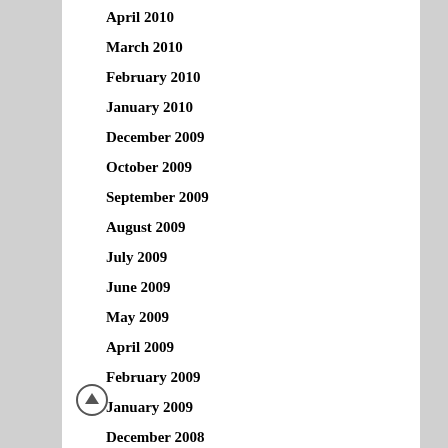April 2010
March 2010
February 2010
January 2010
December 2009
October 2009
September 2009
August 2009
July 2009
June 2009
May 2009
April 2009
February 2009
January 2009
December 2008
November 2008
October 2008
September 2008
August 2008
July 2008
June 2008